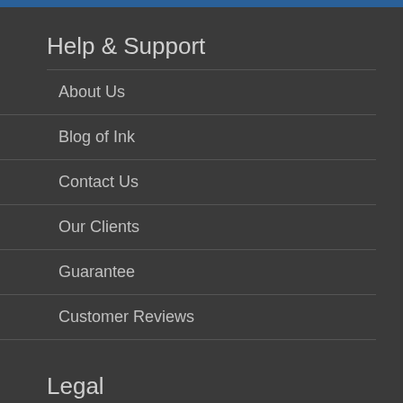Help & Support
About Us
Blog of Ink
Contact Us
Our Clients
Guarantee
Customer Reviews
Legal
Terms and Conditions
Privacy Policy
Proofs